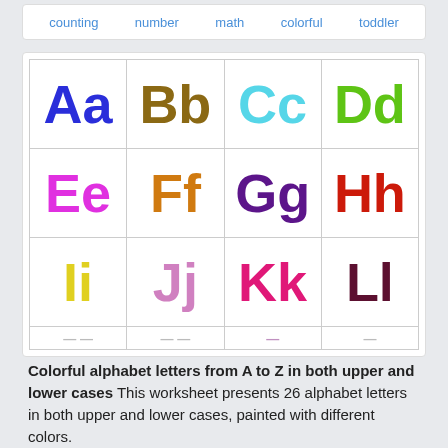counting  number  math  colorful  toddler
[Figure (illustration): Colorful alphabet grid showing letters Aa through Ll (partially), each pair displayed in a distinct color in a 4-column grid]
Colorful alphabet letters from A to Z in both upper and lower cases This worksheet presents 26 alphabet letters in both upper and lower cases, painted with different colors.